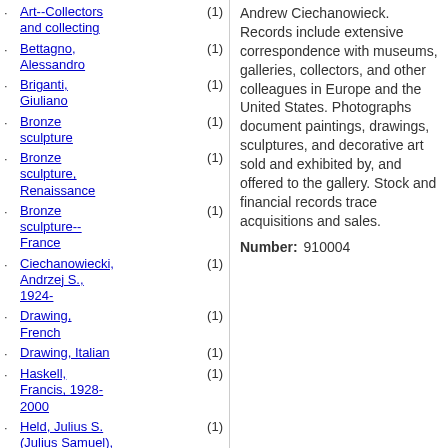Art--Collectors and collecting (1)
Bettagno, Alessandro (1)
Briganti, Giuliano (1)
Bronze sculpture (1)
Bronze sculpture, Renaissance (1)
Bronze sculpture--France (1)
Ciechanowiecki, Andrzej S., 1924- (1)
Drawing, French (1)
Drawing, Italian (1)
Haskell, Francis, 1928-2000 (1)
Held, Julius S. (Julius Samuel), 1905-2002 (1)
Honour, Hugh (1)
Middeldorf, (1)
Andrew Ciechanowieck. Records include extensive correspondence with museums, galleries, collectors, and other colleagues in Europe and the United States. Photographs document paintings, drawings, sculptures, and decorative art sold and exhibited by, and offered to the gallery. Stock and financial records trace acquisitions and sales.
Number: 910004